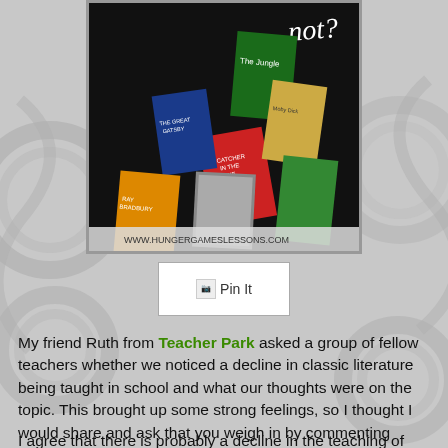[Figure (photo): Collage of classic banned/challenged book covers on black background with text 'not?' visible, and URL www.hungergameslessons.com at bottom]
[Figure (other): Pin It button with broken image icon and text 'Pin It']
My friend Ruth from Teacher Park asked a group of fellow teachers whether we noticed a decline in classic literature being taught in school and what our thoughts were on the topic. This brought up some strong feelings, so I thought I would share and ask that you weigh in by commenting below.
I agree that there is probably a decline in the teaching of